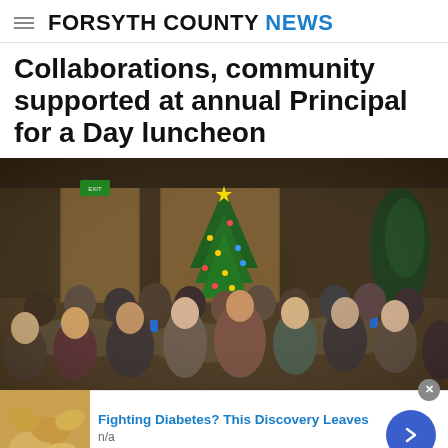FORSYTH COUNTY NEWS
Collaborations, community supported at annual Principal for a Day luncheon
[Figure (photo): A large group of people seated at round tables during a luncheon event in a banquet hall. A decorated Christmas tree is visible in the background, along with wood-paneled walls and ambient lighting. Attendees are dressed in business casual attire.]
Fighting Diabetes? This Discovery Leaves
n/a
dailytips.info